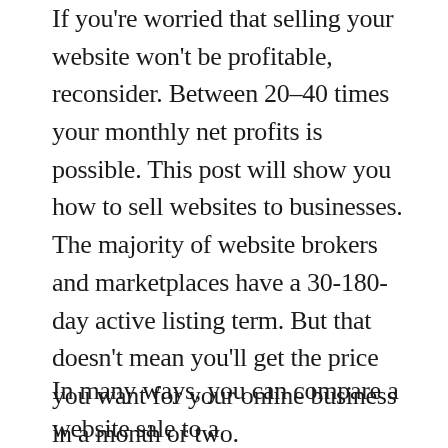If you're worried that selling your website won't be profitable, reconsider. Between 20–40 times your monthly net profits is possible. This post will show you how to sell websites to businesses. The majority of website brokers and marketplaces have a 30-180-day active listing term. But that doesn't mean you'll get the price you want for your online business in a month or two.
In many ways, you can compare a website sale to a